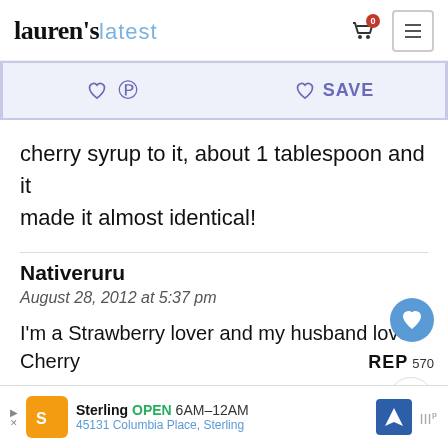Lauren's latest
cherry syrup to it, about 1 tablespoon and it made it almost identical!
Nativeruru
August 28, 2012 at 5:37 pm
I'm a Strawberry lover and my husband love Cherry
[Figure (screenshot): What's Next arrow with Grilled Corn Salsa Recipe thumbnail]
[Figure (infographic): Sterling OPEN 6AM-12AM 45131 Columbia Place, Sterling advertisement banner]